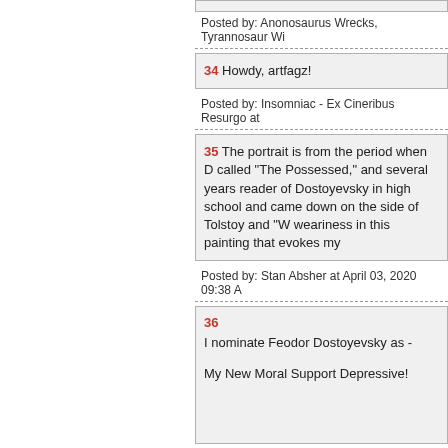Posted by: Anonosaurus Wrecks, Tyrannosaur Wi
34 Howdy, artfagz!
Posted by: Insomniac - Ex Cineribus Resurgo at
35 The portrait is from the period when D called "The Possessed," and several years reader of Dostoyevsky in high school and came down on the side of Tolstoy and "W weariness in this painting that evokes my
Posted by: Stan Absher at April 03, 2020 09:38 A
36
I nominate Feodor Dostoyevsky as -

My New Moral Support Depressive!
Posted by: naturalfake at April 03, 2020 09:39 A